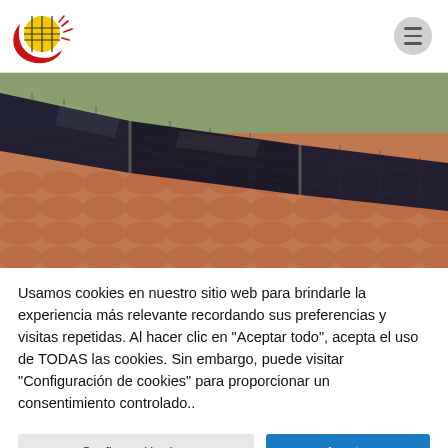Solar energy company logo and navigation menu
[Figure (photo): Solar panels installed on a terracotta tile roof, viewed from below. Three large black photovoltaic panels are visible mounted on the tiled roof surface with a hillside background.]
Usamos cookies en nuestro sitio web para brindarle la experiencia más relevante recordando sus preferencias y visitas repetidas. Al hacer clic en "Aceptar todo", acepta el uso de TODAS las cookies. Sin embargo, puede visitar "Configuración de cookies" para proporcionar un consentimiento controlado..